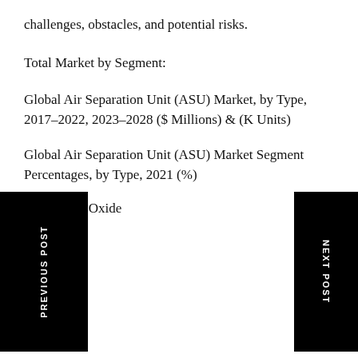challenges, obstacles, and potential risks.
Total Market by Segment:
Global Air Separation Unit (ASU) Market, by Type, 2017-2022, 2023-2028 ($ Millions) & (K Units)
Global Air Separation Unit (ASU) Market Segment Percentages, by Type, 2021 (%)
Nitrogen Oxide
Nitrogen
Krypton
Oxygen
Argon
Others